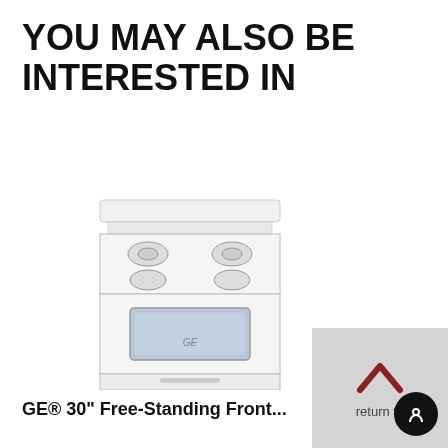YOU MAY ALSO BE INTERESTED IN
[Figure (photo): White GE freestanding gas range/stove with four burners on top and oven window below]
GE® 30" Free-Standing Front...
GE Appliances
JGBS10DEMWW
4.5 stars rating
Our Price
$573.21